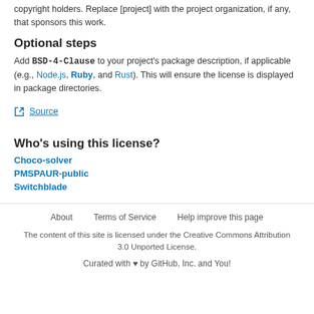copyright holders. Replace [project] with the project organization, if any, that sponsors this work.
Optional steps
Add BSD-4-Clause to your project's package description, if applicable (e.g., Node.js, Ruby, and Rust). This will ensure the license is displayed in package directories.
Source
Who's using this license?
Choco-solver
PMSPAUR-public
Switchblade
About   Terms of Service   Help improve this page
The content of this site is licensed under the Creative Commons Attribution 3.0 Unported License.
Curated with ♥ by GitHub, Inc. and You!